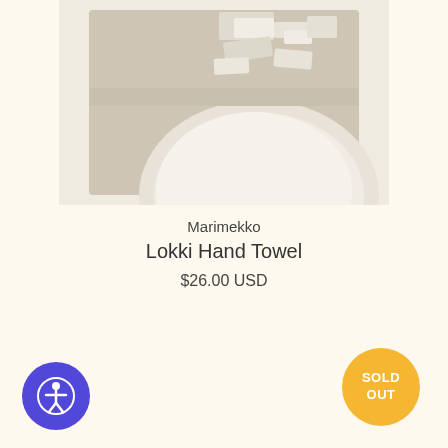[Figure (photo): Folded beige/sand-colored Marimekko Lokki Hand Towel with white geometric pattern, viewed from above]
Marimekko
Lokki Hand Towel
$26.00 USD
[Figure (other): Yellow circular 'SOLD OUT' badge]
[Figure (other): Purple circular accessibility (wheelchair) icon button]